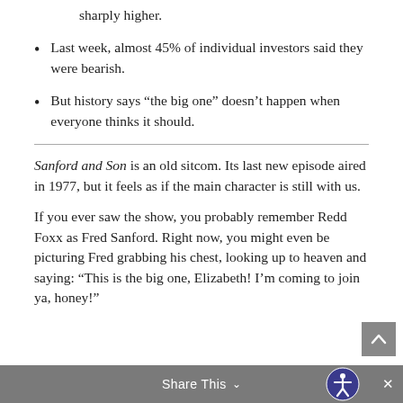sharply higher.
Last week, almost 45% of individual investors said they were bearish.
But history says “the big one” doesn’t happen when everyone thinks it should.
Sanford and Son is an old sitcom. Its last new episode aired in 1977, but it feels as if the main character is still with us.
If you ever saw the show, you probably remember Redd Foxx as Fred Sanford. Right now, you might even be picturing Fred grabbing his chest, looking up to heaven and saying: “This is the big one, Elizabeth! I’m coming to join ya, honey!”
Share This